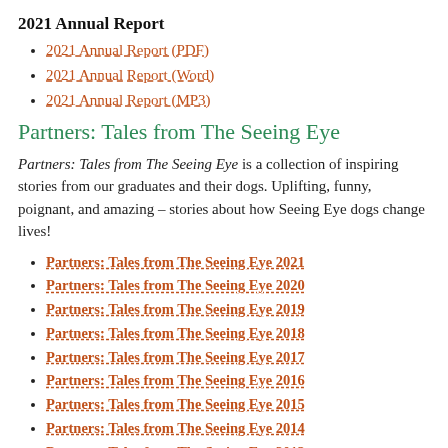2021 Annual Report
2021 Annual Report (PDF)
2021 Annual Report (Word)
2021 Annual Report (MP3)
Partners: Tales from The Seeing Eye
Partners: Tales from The Seeing Eye is a collection of inspiring stories from our graduates and their dogs. Uplifting, funny, poignant, and amazing – stories about how Seeing Eye dogs change lives!
Partners: Tales from The Seeing Eye 2021
Partners: Tales from The Seeing Eye 2020
Partners: Tales from The Seeing Eye 2019
Partners: Tales from The Seeing Eye 2018
Partners: Tales from The Seeing Eye 2017
Partners: Tales from The Seeing Eye 2016
Partners: Tales from The Seeing Eye 2015
Partners: Tales from The Seeing Eye 2014
Partners: Tales from The Seeing Eye 2013